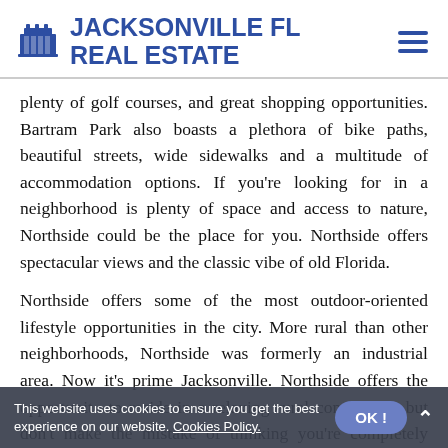JACKSONVILLE FL REAL ESTATE
plenty of golf courses, and great shopping opportunities. Bartram Park also boasts a plethora of bike paths, beautiful streets, wide sidewalks and a multitude of accommodation options. If you're looking for in a neighborhood is plenty of space and access to nature, Northside could be the place for you. Northside offers spectacular views and the classic vibe of old Florida.
Northside offers some of the most outdoor-oriented lifestyle opportunities in the city. More rural than other neighborhoods, Northside was formerly an industrial area. Now it's prime Jacksonville. Northside offers the opportunity to reside in a relaxing rural community, but don't make the mistake of thinking you're completely isolated from culture
This website uses cookies to ensure you get the best experience on our website. Cookies Policy.